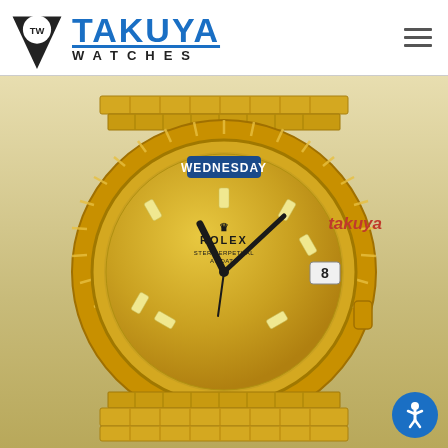TAKUYA WATCHES
[Figure (photo): Close-up photo of a Rolex Day-Date watch with yellow gold case, champagne dial with baguette diamond hour markers, fluted bezel, president bracelet, and date window showing '8'. The day display shows 'WEDNESDAY'. Red 'takuya' watermark text visible on the right side of the image.]